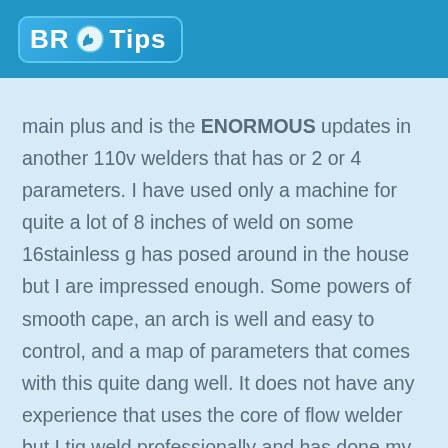BR Tips
main plus and is the ENORMOUS updates in another 110v welders that has or 2 or 4 parameters. I have used only a machine for quite a lot of 8 inches of weld on some 16stainless g has posed around in the house but I are impressed enough. Some powers of smooth cape, an arch is well and easy to control, and a map of parameters that comes with this quite dang well. It does not have any experience that uses the core of flow welder but I tig weld professionally and has done my just action of meso and these stacks of machine up well for the that is to say. It IS any Miller or esab but if yours estimativa is sub $ 300